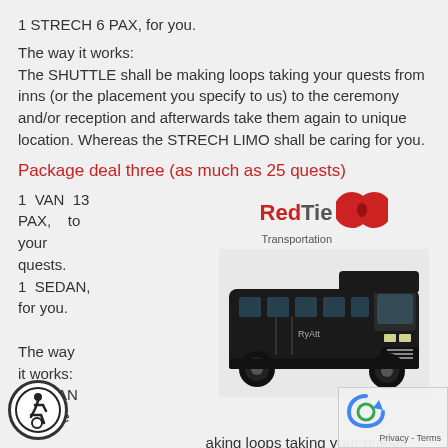1 STRECH 6 PAX, for you.
The way it works:
The SHUTTLE shall be making loops taking your quests from inns (or the placement you specify to us) to the ceremony and/or reception and afterwards take them again to unique location. Whereas the STRECH LIMO shall be caring for you.
Package deal three (as much as 25 quests)
1 VAN 13 PAX, to your quests.
1 SEDAN, for you.
[Figure (logo): RedTie Transportation logo with red bow tie graphic]
[Figure (photo): Black shuttle bus / van vehicle, side view]
The way it works:
The VAN shall be making loops taking your quests from inns (or the placement you specify to us) to the ceremony and/or reception and afterwards take them again to unique location. Whereas the SEDAN shall be caring for you.
[Figure (illustration): Wheelchair accessibility icon in circular border]
[Figure (other): reCAPTCHA widget with Privacy and Terms links]